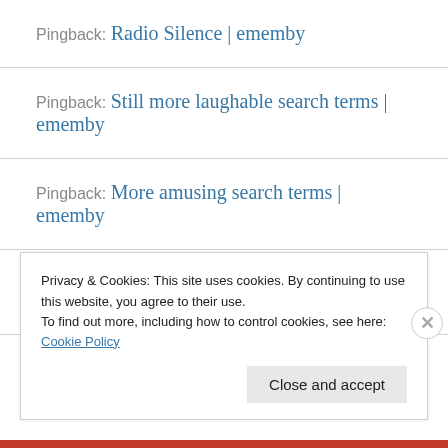Pingback: Radio Silence | ememby
Pingback: Still more laughable search terms | ememby
Pingback: More amusing search terms | ememby
Pingback: Funnies, of the search term variety | ememby
Privacy & Cookies: This site uses cookies. By continuing to use this website, you agree to their use.
To find out more, including how to control cookies, see here: Cookie Policy
Close and accept